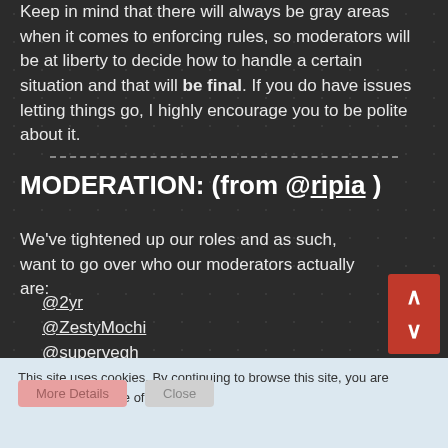Keep in mind that there will always be gray areas when it comes to enforcing rules, so moderators will be at liberty to decide how to handle a certain situation and that will be final. If you do have issues letting things go, I highly encourage you to be polite about it.
MODERATION: (from @ripia )
We've tightened up our roles and as such, want to go over who our moderators actually are:
@2yr
@ZestyMochi
@supervegh
This site uses cookies. By continuing to browse this site, you are agreeing to our use of cookies.